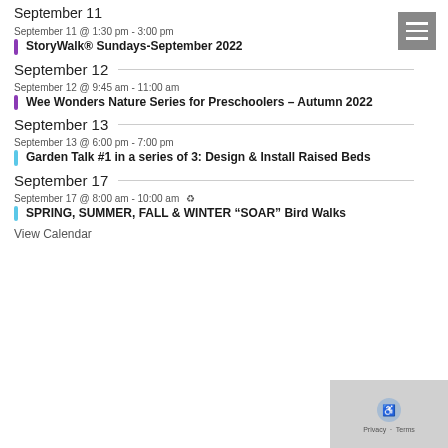September 11
September 11 @ 1:30 pm - 3:00 pm
StoryWalk® Sundays-September 2022
September 12
September 12 @ 9:45 am - 11:00 am
Wee Wonders Nature Series for Preschoolers – Autumn 2022
September 13
September 13 @ 6:00 pm - 7:00 pm
Garden Talk #1 in a series of 3: Design & Install Raised Beds
September 17
September 17 @ 8:00 am - 10:00 am
SPRING, SUMMER, FALL & WINTER “SOAR” Bird Walks
View Calendar